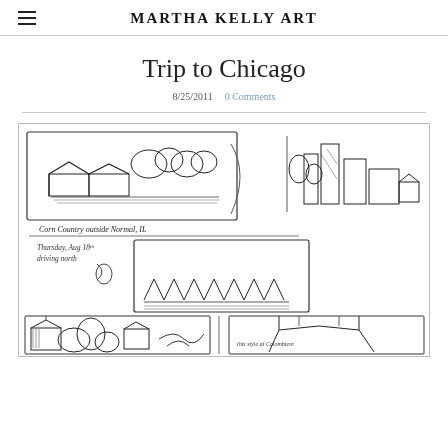MARTHA KELLY ART
Trip to Chicago
8/25/2011   0 Comments
[Figure (illustration): Sketchbook page with ink drawings of rural scenes: corn country outside Normal, IL with barns, trees, and farm buildings. Handwritten notes: 'Corn Country outside Normal, IL', 'Thursday, Aug 18th driving north'. Multiple sketch panels showing buildings, silos, and structures.]